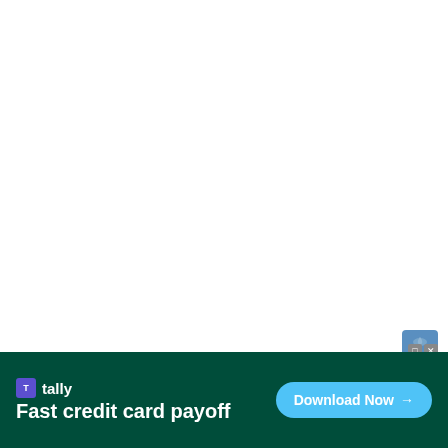[Figure (screenshot): Browser bar showing Microsoft Edge logo and label 'edge' with a close (X) button on the left. Below is a dark green advertisement banner for Tally app with text 'Fast credit card payoff' and a 'Download Now' button.]